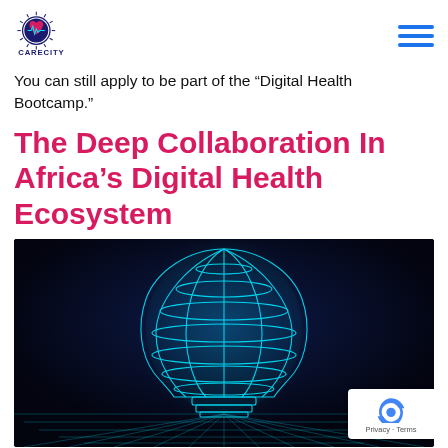CARECITY
You can still apply to be part of the “Digital Health Bootcamp.”
The Deep Collaboration In Africa’s Digital Health Ecosystem
[Figure (illustration): A glowing cyan wireframe light bulb against a dark navy background with a cyan grid floor, representing digital innovation in healthcare.]